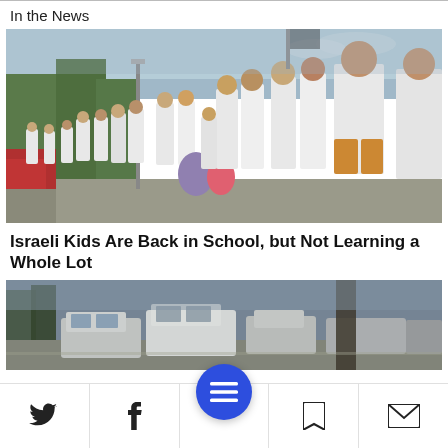In the News
[Figure (photo): Group of children in white t-shirts standing in a line outdoors, carrying backpacks, likely on a school campus]
Israeli Kids Are Back in School, but Not Learning a Whole Lot
[Figure (photo): Street scene with cars parked, blurred foreground, outdoor setting]
Social share bar with Twitter, Facebook, menu, bookmark, and email icons